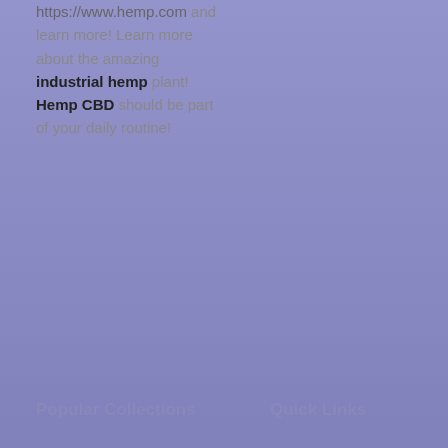https://www.hemp.com and learn more! Learn more about the amazing industrial hemp plant! Hemp CBD should be part of your daily routine!
Popular Collections
Quick Links
Men's Jeans
Men's Shirts
Healthb
Women's Jeans
Women's Shoes
Home
Shop
What Is Hemp
Hemp
About Us